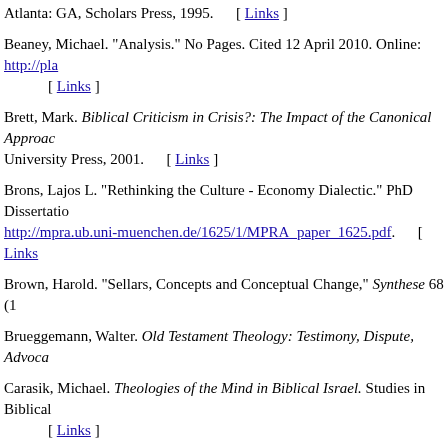Atlanta: GA, Scholars Press, 1995. [ Links ]
Beaney, Michael. "Analysis." No Pages. Cited 12 April 2010. Online: http://pla [ Links ]
Brett, Mark. Biblical Criticism in Crisis?: The Impact of the Canonical Approac... University Press, 2001. [ Links ]
Brons, Lajos L. "Rethinking the Culture - Economy Dialectic." PhD Dissertatio... http://mpra.ub.uni-muenchen.de/1625/1/MPRA_paper_1625.pdf. [ Links ]
Brown, Harold. "Sellars, Concepts and Conceptual Change," Synthese 68 (1...
Brueggemann, Walter. Old Testament Theology: Testimony, Dispute, Advoca...
Carasik, Michael. Theologies of the Mind in Biblical Israel. Studies in Biblical... [ Links ]
Craig, Vincent M. Charts of Philosophy and Philosophers. Grand Rapids, Mic...
Creel, Richard E. Thinking Philosophically: An Introduction to Critical Reflecti... [ Links ]
Cupitt, Don. The New Religion of Life in Everyday Speech. London: SCM Pre...
_______. Above Us Only Sky - The Religion of Ordinary Life. Santa Rosa: C...
_______. The Way to Happiness. London: Polebridge, 2005. [ Links ]
Earl, Dennis. "Concepts." No Pages. Cited 18 February 2010. Online: http://w...
Elson, Robert A. ...